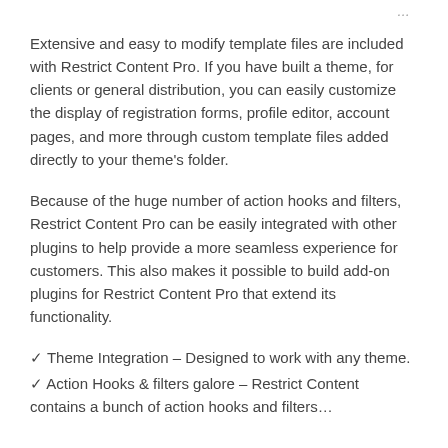Extensive and easy to modify template files are included with Restrict Content Pro. If you have built a theme, for clients or general distribution, you can easily customize the display of registration forms, profile editor, account pages, and more through custom template files added directly to your theme’s folder.
Because of the huge number of action hooks and filters, Restrict Content Pro can be easily integrated with other plugins to help provide a more seamless experience for customers. This also makes it possible to build add-on plugins for Restrict Content Pro that extend its functionality.
✓ Theme Integration – Designed to work with any theme.
✓ Action Hooks & filters galore – Restrict Content contains a bunch of action hooks and filters...